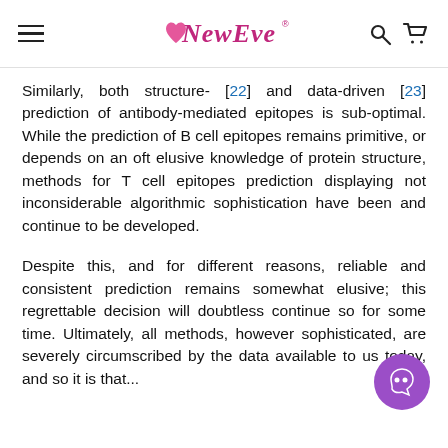NewEve [navigation bar with hamburger menu, logo, search and cart icons]
Similarly, both structure- [22] and data-driven [23] prediction of antibody-mediated epitopes is sub-optimal. While the prediction of B cell epitopes remains primitive, or depends on an oft elusive knowledge of protein structure, methods for T cell epitopes prediction displaying not inconsiderable algorithmic sophistication have been and continue to be developed.
Despite this, and for different reasons, reliable and consistent prediction remains somewhat elusive; this regrettable decision will doubtless continue so for some time. Ultimately, all methods, however sophisticated, are severely circumscribed by the data available to us today, and so it is that...